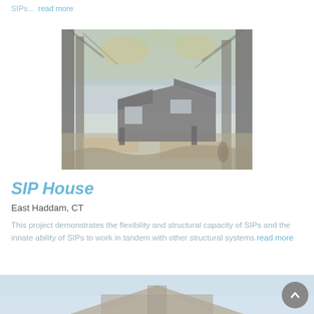SIPs... read more
[Figure (photo): Exterior photo of a SIP house surrounded by trees in East Haddam, CT. Modern angular structure with dark cladding visible among bare autumn trees near water.]
SIP House
East Haddam, CT
This project demonstrates the flexibility and structural capacity of SIPs and the innate ability of SIPs to work in tandem with other structural systems. read more
[Figure (photo): Partial view of another building at the bottom of the page, showing a roof structure against a light sky.]